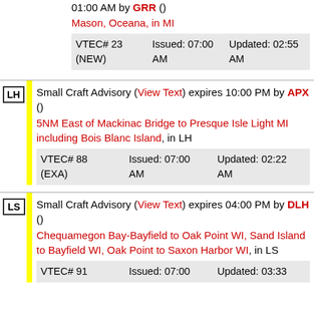01:00 AM by GRR ()
Mason, Oceana, in MI
| VTEC# 23 (NEW) | Issued: 07:00 AM | Updated: 02:55 AM |
LH — Small Craft Advisory (View Text) expires 10:00 PM by APX ()
5NM East of Mackinac Bridge to Presque Isle Light MI including Bois Blanc Island, in LH
| VTEC# 88 (EXA) | Issued: 07:00 AM | Updated: 02:22 AM |
LS — Small Craft Advisory (View Text) expires 04:00 PM by DLH ()
Chequamegon Bay-Bayfield to Oak Point WI, Sand Island to Bayfield WI, Oak Point to Saxon Harbor WI, in LS
| VTEC# 91 | Issued: 07:00 | Updated: 03:33 |